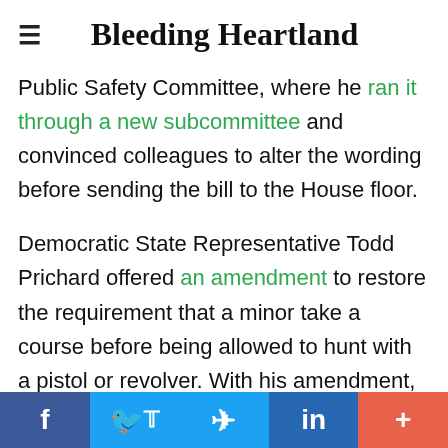Bleeding Heartland
Public Safety Committee, where he ran it through a new subcommittee and convinced colleagues to alter the wording before sending the bill to the House floor.
Democratic State Representative Todd Prichard offered an amendment to restore the requirement that a minor take a course before being allowed to hunt with a pistol or revolver. With his amendment, that portion of the bill would have read as
f  in  +